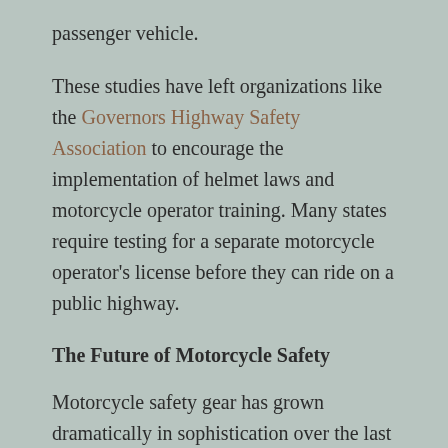passenger vehicle.
These studies have left organizations like the Governors Highway Safety Association to encourage the implementation of helmet laws and motorcycle operator training. Many states require testing for a separate motorcycle operator's license before they can ride on a public highway.
The Future of Motorcycle Safety
Motorcycle safety gear has grown dramatically in sophistication over the last century — full airbag suits, durable